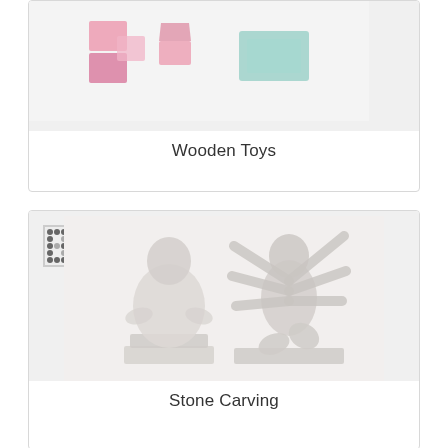[Figure (photo): Wooden toys including colorful block-shaped toys, partially visible at top of card]
Wooden Toys
[Figure (photo): Stone carvings showing a seated Buddha statue and a multi-armed Nataraja/deity figure, with a QR/dot pattern in the upper left corner]
Stone Carving